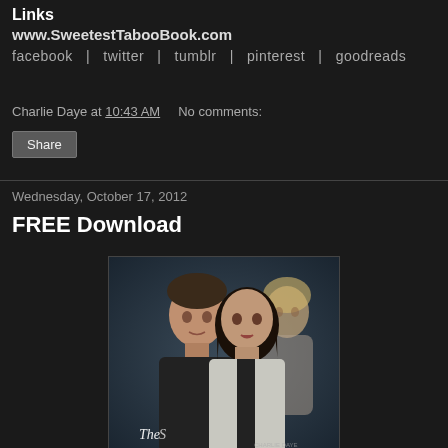Links
www.SweetestTabooBook.com
facebook | twitter | tumblr | pinterest | goodreads
Charlie Daye at 10:43 AM   No comments:
Share
Wednesday, October 17, 2012
FREE Download
[Figure (photo): Book cover showing three people: a man and woman in the foreground, and a blonde woman in the background. The book appears to be 'The Sweetest Taboo'.]